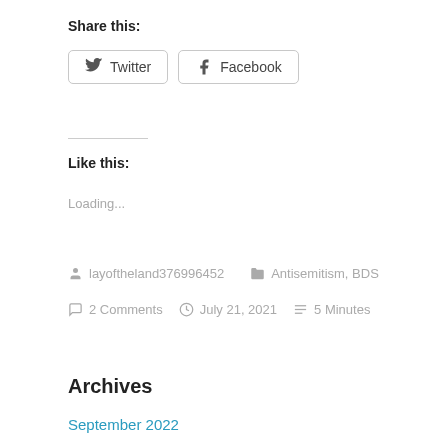Share this:
Twitter  Facebook
Like this:
Loading...
layoftheland376996452   Antisemitism, BDS
2 Comments   July 21, 2021   5 Minutes
Archives
September 2022
August 2022
July 2022